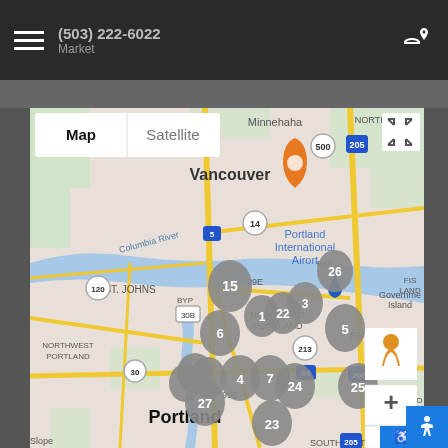(503) 222-6022 Market
[Figure (map): Google Maps view showing Portland, OR area with numbered location pins (1,3,4,5,6,7,15,22,23,24,25,26,27) and an orange marker in Vancouver area. Map shows Columbia River, Portland International Airport, Vancouver WA, various neighborhoods including ST. JOHNS, NORTHEAST PORTLAND, NORTHWEST PORTLAND, PARKROSE, HAZELWOOD, Government Island. Map controls include Map/Satellite toggle, fullscreen button, street view pegman, and zoom +/- buttons. Accessibility button in lower right corner.]